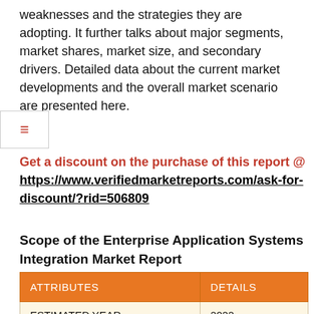weaknesses and the strategies they are adopting. It further talks about major segments, market shares, market size, and secondary drivers. Detailed data about the current market developments and the overall market scenario are presented here.
Get a discount on the purchase of this report @ https://www.verifiedmarketreports.com/ask-for-discount/?rid=506809
Scope of the Enterprise Application Systems Integration Market Report
| ATTRIBUTES | DETAILS |
| --- | --- |
| ESTIMATED YEAR | 2022 |
| YEAR OF |  |